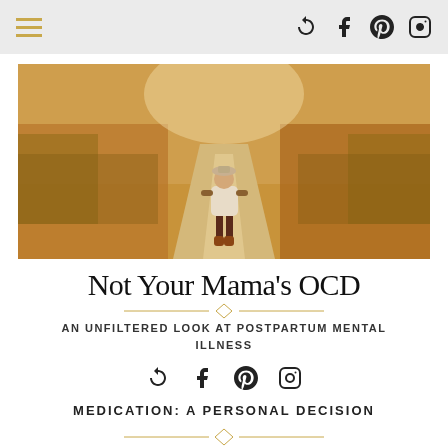Navigation bar with hamburger menu and social icons
[Figure (photo): A toddler standing in the middle of a dirt road flanked by golden autumn fields, warm late-day light]
Not Your Mama's OCD
AN UNFILTERED LOOK AT POSTPARTUM MENTAL ILLNESS
[Figure (other): Social media icon row: share, facebook, pinterest, instagram]
MEDICATION: A PERSONAL DECISION